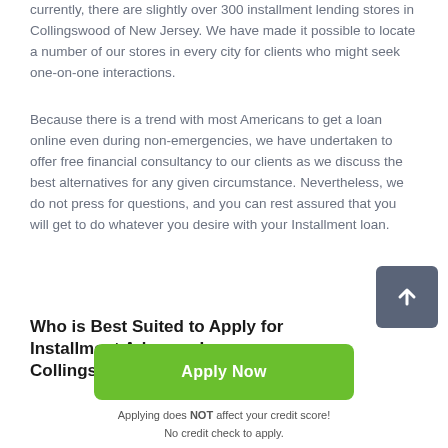currently, there are slightly over 300 installment lending stores in Collingswood of New Jersey. We have made it possible to locate a number of our stores in every city for clients who might seek one-on-one interactions.
Because there is a trend with most Americans to get a loan online even during non-emergencies, we have undertaken to offer free financial consultancy to our clients as we discuss the best alternatives for any given circumstance. Nevertheless, we do not press for questions, and you can rest assured that you will get to do whatever you desire with your Installment loan.
Who is Best Suited to Apply for Installment Advance Loans Collingswood?
Apply Now
Applying does NOT affect your credit score!
No credit check to apply.